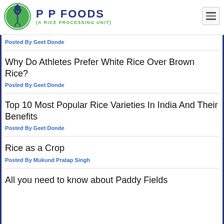PP FOODS (A RICE PROCESSING UNIT)
Posted By Geet Donde
Why Do Athletes Prefer White Rice Over Brown Rice?
Posted By Geet Donde
Top 10 Most Popular Rice Varieties In India And Their Benefits
Posted By Geet Donde
Rice as a Crop
Posted By Mukund Pratap Singh
All you need to know about Paddy Fields